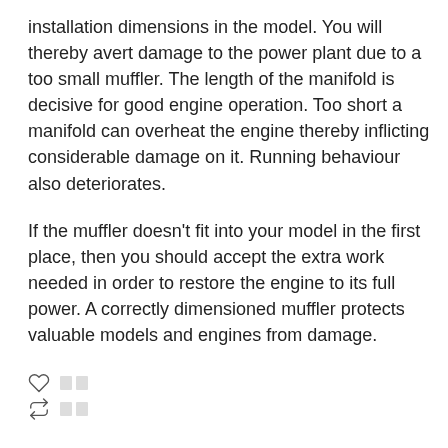installation dimensions in the model. You will thereby avert damage to the power plant due to a too small muffler. The length of the manifold is decisive for good engine operation. Too short a manifold can overheat the engine thereby inflicting considerable damage on it. Running behaviour also deteriorates.
If the muffler doesn't fit into your model in the first place, then you should accept the extra work needed in order to restore the engine to its full power. A correctly dimensioned muffler protects valuable models and engines from damage.